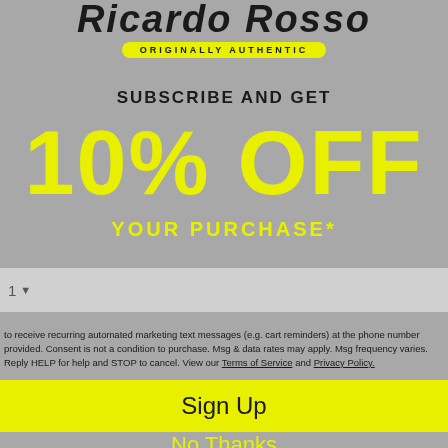[Figure (logo): Ricardo Rosso brand logo in bold italic script with 'ORIGINALLY AUTHENTIC' badge below in yellow pill shape]
SUBSCRIBE AND GET
10% OFF
YOUR PURCHASE*
1 (dropdown)
to receive recurring automated marketing text messages (e.g. cart reminders) at the phone number provided. Consent is not a condition to purchase. Msg & data rates may apply. Msg frequency varies. Reply HELP for help and STOP to cancel. View our Terms of Service and Privacy Policy.
Sign Up
No Thanks